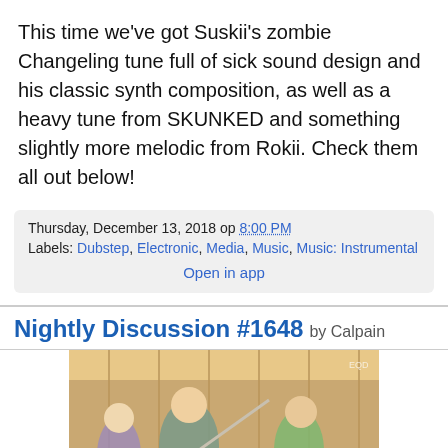This time we've got Suskii's zombie Changeling tune full of sick sound design and his classic synth composition, as well as a heavy tune from SKUNKED and something slightly more melodic from Rokii. Check them all out below!
Thursday, December 13, 2018 op 8:00 PM
Labels: Dubstep, Electronic, Media, Music, Music: Instrumental
Open in app
Nightly Discussion #1648 by Calpain
[Figure (illustration): Animated illustration showing characters in a gym or dojo setting]
[Figure (other): Advertisement banner for Tally: Fast credit card payoff with Download Now button]
[Figure (illustration): Partial colorful illustration at bottom]